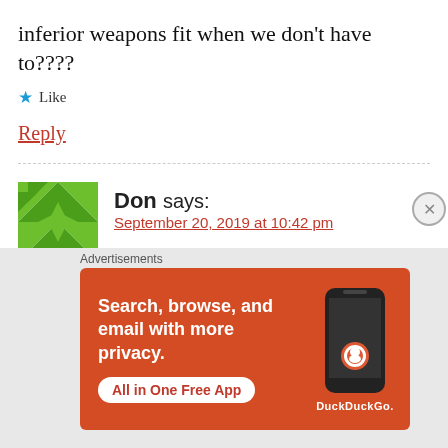inferior weapons fit when we don't have to????
★ Like
Reply
Don says:
September 20, 2019 at 10:42 pm
Great Article and well thought out Rationale for Standardisation.
[Figure (infographic): DuckDuckGo advertisement banner: orange background with text 'Search, browse, and email with more privacy. All in One Free App' alongside a smartphone image and DuckDuckGo logo.]